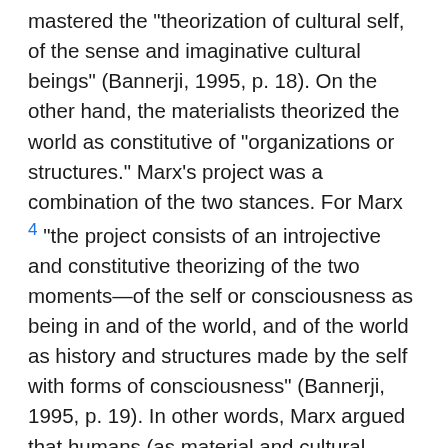mastered the "theorization of cultural self, of the sense and imaginative cultural beings" (Bannerji, 1995, p. 18). On the other hand, the materialists theorized the world as constitutive of "organizations or structures." Marx's project was a combination of the two stances. For Marx 4 "the project consists of an introjective and constitutive theorizing of the two moments—of the self or consciousness as being in and of the world, and of the world as history and structures made by the self with forms of consciousness" (Bannerji, 1995, p. 19). In other words, Marx argued that humans (as material and cultural selves) make history and structures of their world with forms of consciousness extended from the past. Here, the use of the word, "introjective," refers to the unity of the self and consciousness, meaning they affect, adopt, and constitute each other as two components in one relationship. As such, Marx's understanding of self and